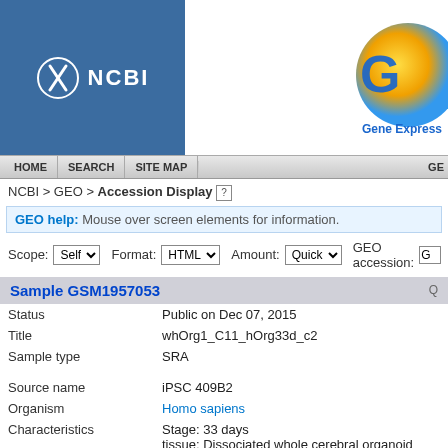[Figure (logo): NCBI logo with blue background and snake icon]
[Figure (logo): GEO Gene Expression Omnibus logo partial]
HOME   SEARCH   SITE MAP   GE
NCBI > GEO > Accession Display ?
GEO help: Mouse over screen elements for information.
Scope: Self  Format: HTML  Amount: Quick  GEO accession: G
Sample GSM1957053
| Field | Value |
| --- | --- |
| Status | Public on Dec 07, 2015 |
| Title | whOrg1_C11_hOrg33d_c2 |
| Sample type | SRA |
| Source name | iPSC 409B2 |
| Organism | Homo sapiens |
| Characteristics | Stage: 33 days
tissue: Dissociated whole cerebral organoid |
| Treatment protocol | Whole cerebral organoids and microdisseccted ventricle... Accutase (StemPro) containing 0.2 U/μl Dnase I (Roche... Dissociated cells were filtered through 40, 30, and 20 μ... single cell suspension. |
| Growth protocol | Cerebral organoids were generated using the same proto... Nature Protocols 2014, with the exception that mTESR1 (S... |